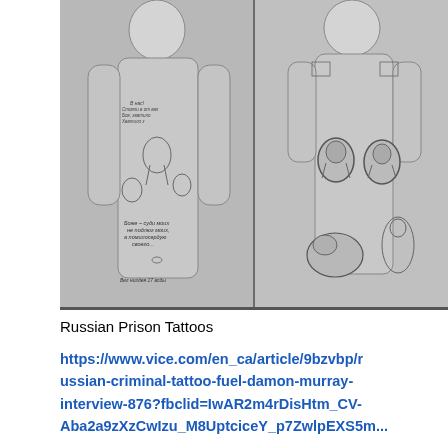[Figure (photo): Two black and white photographs side by side showing Russian prison tattoos on men's torsos. Left photo: heavily tattooed torso with elaborate imagery including figures, text in Russian, and various symbols. Right photo: torso with tattoos including portraits of Stalin and Lenin, a tiger, and a female figure.]
Russian Prison Tattoos
https://www.vice.com/en_ca/article/9bzvbp/russian-criminal-tattoo-fuel-damon-murray-interview-876?fbclid=IwAR2m4rDisHtm_CV-Aba2a9zXzCwIzu_M8UptciceY_p7ZwlpEXS5m...